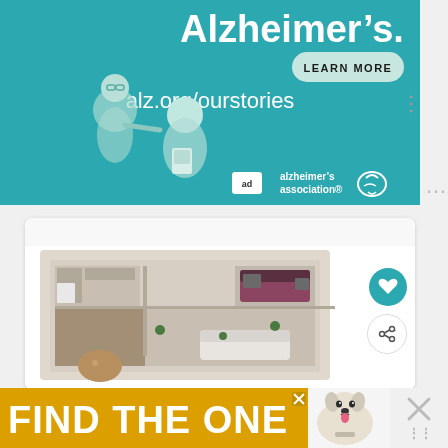[Figure (illustration): Alzheimer's Association advertisement with teal background, two illustrated elderly people, text 'Alzheimer's.', 'LEARN MORE' button, 'alz.org/ourstories' URL, and Alzheimer's Association logo]
[Figure (photo): 3D rendered floor plan of an apartment/home interior viewed from above, showing kitchen, living room, dining area, and bedroom]
[Figure (illustration): Yellow banner advertisement with bold white text 'FIND THE ONE' and an image of a dog, with close button]